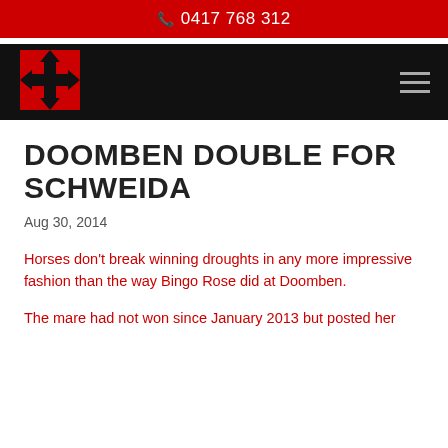0417 768 312
[Figure (logo): Red and black cross/maltese cross logo mark in a square box]
DOOMBEN DOUBLE FOR SCHWEIDA
Aug 30, 2014
Horses don't break winning droughts in any more impressive fashion than the way Bingo Rose did at Doomben.
The mare had not won since January 2013 but posted her